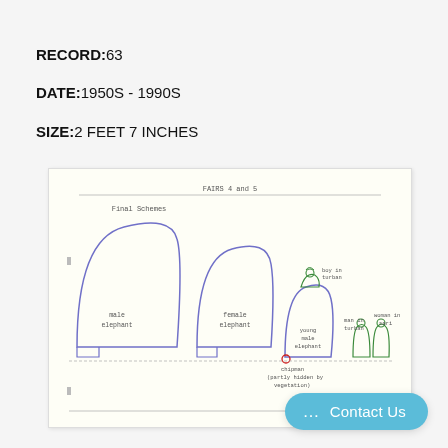RECORD:63
DATE:1950S - 1990S
SIZE:2 FEET 7 INCHES
[Figure (illustration): A scaled diagram showing profile silhouettes of elephants and human figures. The elephants are drawn in purple/blue outline: a large 'male elephant' on the left, a slightly smaller 'female elephant' in the center-left. A smaller 'young male elephant' is in the center with a red dot labeled 'chipman (partly hidden by vegetation)'. A 'boy in turban' figure in green stands on top of the young elephant outline. To the right are two green human figures labeled 'man in turban' and 'woman in sari'. The document header reads 'FAIRS 4 and 5' with a horizontal line, and below it 'Final Schemes'. A horizontal line appears at the bottom of the document.]